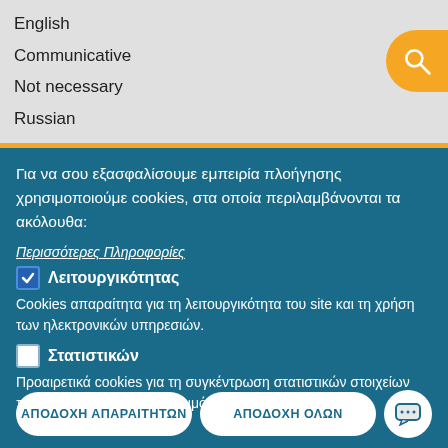English
Communicative
Not necessary
Russian
Communicative
Για να σου εξασφαλίσουμε εμπειρία πλοήγησης χρησιμοποιούμε cookies, στα οποία περιλαμβάνονται τα ακόλουθα:
Περισσότερες Πληροφορίες
Λειτουργικότητας
Cookies απαραίτητα για τη λειτουργικότητα του site και τη χρήση των ηλεκτρονικών υπηρεσιών.
Στατιστικών
Προαιρετικά cookies για τη συγκέντρωση στατιστικών στοιχείων που αφορούν στην επισκεψιμότητα του site.
ΑΠΟΔΟΧΗ ΑΠΑΡΑΙΤΗΤΩΝ
ΑΠΟΔΟΧΗ ΟΛΩΝ